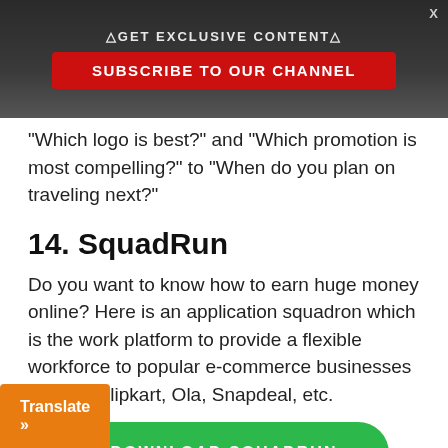△GET EXCLUSIVE CONTENT△
SUBSCRIBE TO OUR CHANNEL
would for competing for attention can range from "Which logo is best?" and "Which promotion is most compelling?" to "When do you plan on traveling next?"
14. SquadRun
Do you want to know how to earn huge money online? Here is an application squadron which is the work platform to provide a flexible workforce to popular e-commerce businesses such as Flipkart, Ola, Snapdeal, etc.
[Figure (other): Green rounded button with text DOWNLOAD SQUADRUN]
Translate »